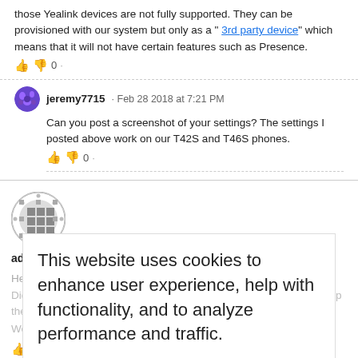those Yealink devices are not fully supported. They can be provisioned with our system but only as a "3rd party device" which means that it will not have certain features such as Presence.
jeremy7715 · Feb 28 2018 at 7:21 PM
Can you post a screenshot of your settings? The settings I posted above work on our T42S and T46S phones.
[Figure (photo): User avatar for jeremy7715 - purple splat icon]
[Figure (photo): User avatar for adrian-david - grid pattern circular icon]
adrian-david answered • Jun 27 2018 at 2:02 AM
Hey Jeremy,
Did you ever find a way to make the lights work more reliably / pickup the calls remotely?
We currently have 8 x T42S and really need the feature to work.
This website uses cookies to enhance user experience, help with functionality, and to analyze performance and traffic.
Cookies Settings